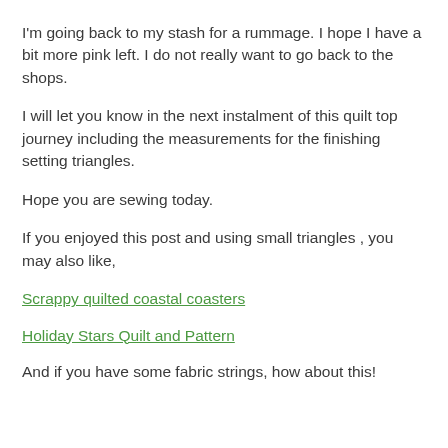I'm going back to my stash for a rummage. I hope I have a bit more pink left. I do not really want to go back to the shops.
I will let you know in the next instalment of this quilt top journey including the measurements for the finishing setting triangles.
Hope you are sewing today.
If you enjoyed this post and using small triangles , you may also like,
Scrappy quilted coastal coasters
Holiday Stars Quilt and Pattern
And if you have some fabric strings, how about this!